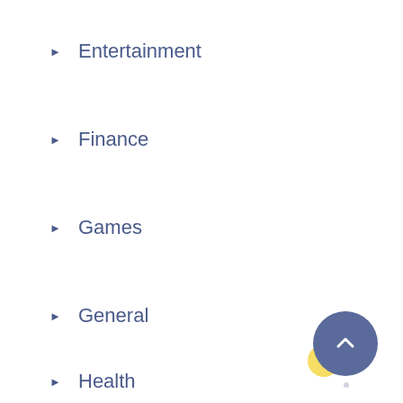▶ Entertainment
▶ Finance
▶ Games
▶ General
▶ Health
▶ Medical
▶ Real-Estate
▶ SEO
▶ Service
▶ Social Media
[Figure (other): Scroll-to-top circular button with upward chevron arrow, slate blue color, positioned bottom right]